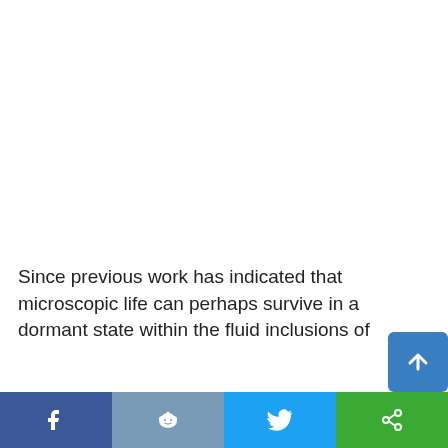Since previous work has indicated that microscopic life can perhaps survive in a dormant state within the fluid inclusions of
[Figure (screenshot): Social media share bar at the bottom with Facebook, Reddit, Twitter, and a green share button. A blue scroll-to-top arrow button is also visible.]